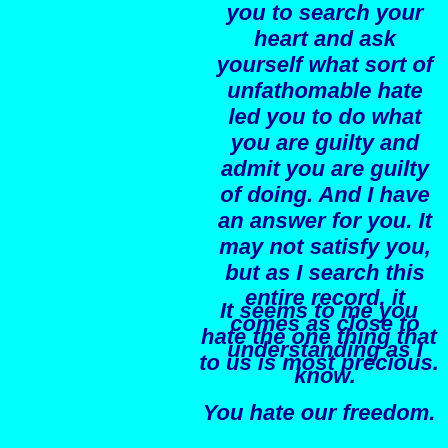you to search your heart and ask yourself what sort of unfathomable hate led you to do what you are guilty and admit you are guilty of doing. And I have an answer for you. It may not satisfy you, but as I search this entire record, it comes as close to understanding as I know.
It seems to me you hate the one thing that to us is most precious.
You hate our freedom.